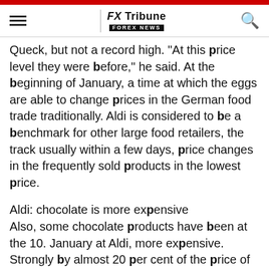FX Tribune FOREX NEWS
Queck, but not a record high. "At this price level they were before," he said. At the beginning of January, a time at which the eggs are able to change prices in the German food trade traditionally. Aldi is considered to be a benchmark for other large food retailers, the track usually within a few days, price changes in the frequently sold products in the lowest price.
Aldi: chocolate is more expensive
Also, some chocolate products have been at the 10. January at Aldi, more expensive. Strongly by almost 20 per cent of the price of pistachio nuts rose. Aldi Nord noted the recent price changes to higher raw material prices. "Generally speaking, we always focus on the development of raw material prices, is not a